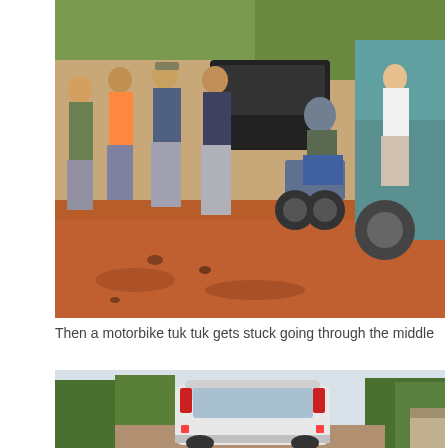[Figure (photo): A motorbike tuk tuk stuck on a muddy red dirt road surrounded by a crowd of people and a large truck on the right side. The rider wears a helmet and green jacket. Various onlookers stand around in casual clothing.]
Then a motorbike tuk tuk gets stuck going through the middle
[Figure (photo): A minibus or van seen from behind on a dirt road, surrounded by trees on either side under a bright sky.]